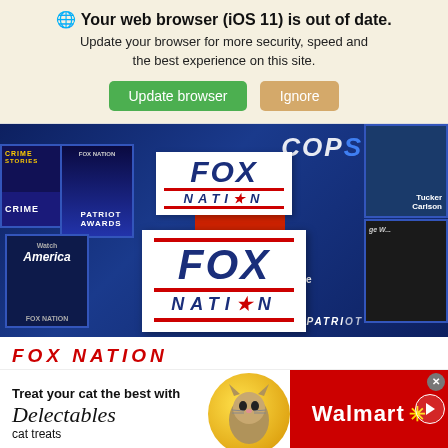🌐 Your web browser (iOS 11) is out of date. Update your browser for more security, speed and the best experience on this site.
Update browser | Ignore
[Figure (screenshot): Fox Nation promotional hero image with multiple show thumbnails on dark blue background, featuring Fox Nation logos overlaid]
FOX NATION
[Figure (photo): Walmart advertisement banner: 'Treat your cat the best with Delectables cat treats' with cat photo and Walmart logo on red background]